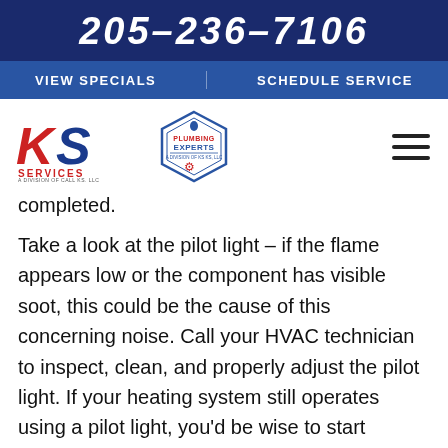205-236-7106
VIEW SPECIALS   SCHEDULE SERVICE
[Figure (logo): KS Services logo and Plumbing Experts badge logo]
completed.
Take a look at the pilot light – if the flame appears low or the component has visible soot, this could be the cause of this concerning noise. Call your HVAC technician to inspect, clean, and properly adjust the pilot light. If your heating system still operates using a pilot light, you'd be wise to start investigating replacement options before the aging system fails on you.